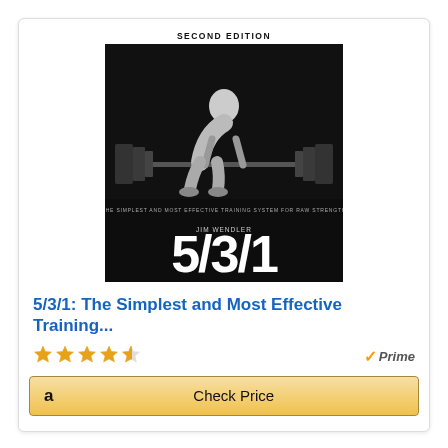[Figure (photo): Book cover of '5/3/1: The Simplest and Most Effective Training System for Raw Strength' Second Edition by Jim Wendler. Black cover with a powerlifter gripping a barbell on the floor. Large white '5/3/1' text at the bottom.]
5/3/1: The Simplest and Most Effective Training...
[Figure (other): 4.5 out of 5 stars rating shown as gold star icons]
Prime
Check Price